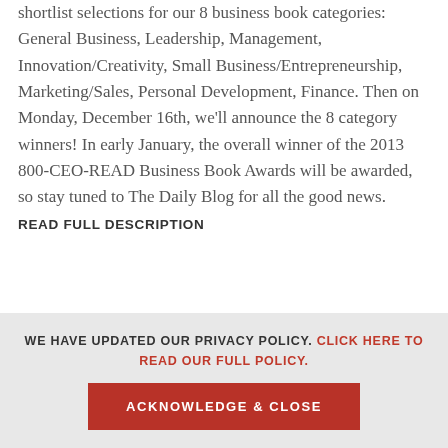shortlist selections for our 8 business book categories: General Business, Leadership, Management, Innovation/Creativity, Small Business/Entrepreneurship, Marketing/Sales, Personal Development, Finance. Then on Monday, December 16th, we'll announce the 8 category winners! In early January, the overall winner of the 2013 800-CEO-READ Business Book Awards will be awarded, so stay tuned to The Daily Blog for all the good news. READ FULL DESCRIPTION
WE HAVE UPDATED OUR PRIVACY POLICY. CLICK HERE TO READ OUR FULL POLICY.
ACKNOWLEDGE & CLOSE